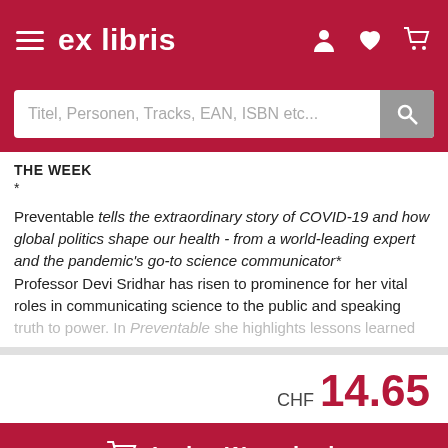ex libris
Titel, Personen, Tracks, EAN, ISBN etc...
THE WEEK
*
Preventable tells the extraordinary story of COVID-19 and how global politics shape our health - from a world-leading expert and the pandemic's go-to science communicator*
Professor Devi Sridhar has risen to prominence for her vital roles in communicating science to the public and speaking truth to power. In Preventable she highlights lessons learned
CHF 14.65
In den Warenkorb